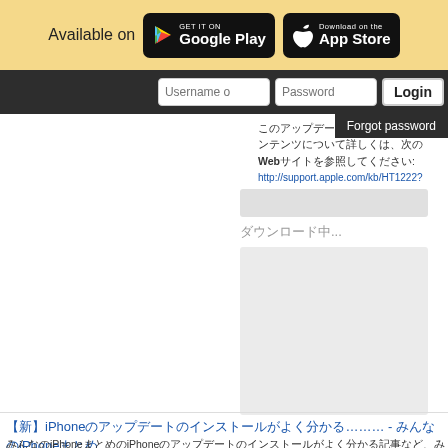Available on  Google Play  App Store
Username o  Password  Login  Forgot password
このアップデートのセキュリティコンテンツについて詳しくは、次のWebサイトを参照してください: http://support.apple.com/kb/HT1222?viewlocale=ja_JP
[Figure (screenshot): Download progress bar and grey download area with label ダウンロード中...]
【新】iPhoneのアップデートのインストールがよく分かる……… - みんなのiPhoneまとめ
みんなのiPhoneまとめ · March 1, 2014 at 5:37pm
[Figure (illustration): Partial illustration of circular infographic icons at bottom of page]